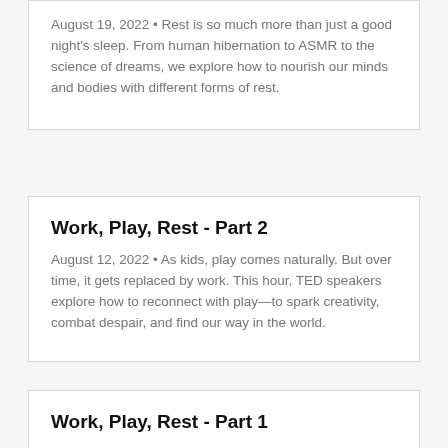August 19, 2022 • Rest is so much more than just a good night's sleep. From human hibernation to ASMR to the science of dreams, we explore how to nourish our minds and bodies with different forms of rest.
Work, Play, Rest - Part 2
August 12, 2022 • As kids, play comes naturally. But over time, it gets replaced by work. This hour, TED speakers explore how to reconnect with play—to spark creativity, combat despair, and find our way in the world.
Work, Play, Rest - Part 1